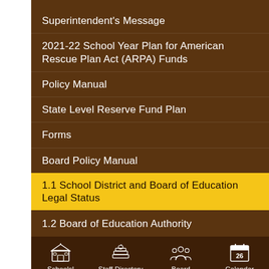Superintendent's Message
2021-22 School Year Plan for American Rescue Plan Act (ARPA) Funds
Policy Manual
State Level Reserve Fund Plan
Forms
Board Policy Manual
1.1 School District and Board of Education Legal Status
1.2 Board of Education Authority
Schoolsl   Staff Directory   Board   Calendar